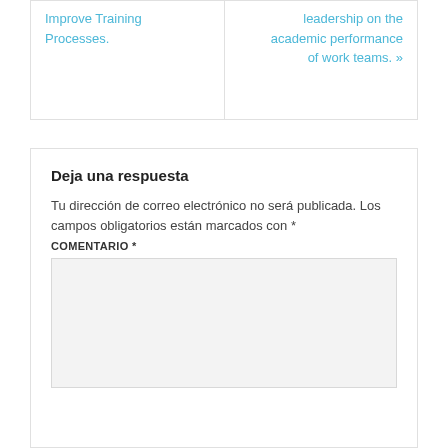Improve Training Processes.
leadership on the academic performance of work teams. »
Deja una respuesta
Tu dirección de correo electrónico no será publicada. Los campos obligatorios están marcados con *
COMENTARIO *